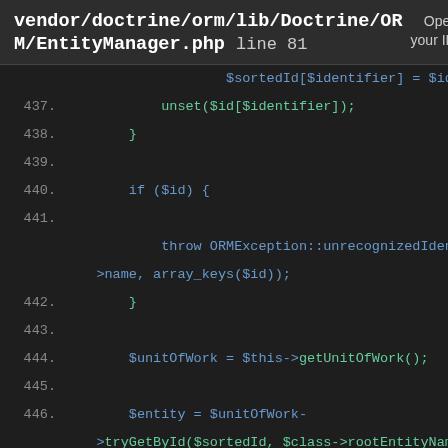vendor/doctrine/orm/lib/Doctrine/ORM/EntityManager.php line 81   Open in your IDE?
[Figure (screenshot): PHP source code viewer showing lines 436-450 of vendor/doctrine/orm/lib/Doctrine/ORM/EntityManager.php. Code includes: sortedId assignment, unset call, if($id) block with throw ORMException::unrecognizedIdent, unitOfWork assignment, entity tryGetById call, comment 'Check identity map first', and if statements for entity instanceof checks.]